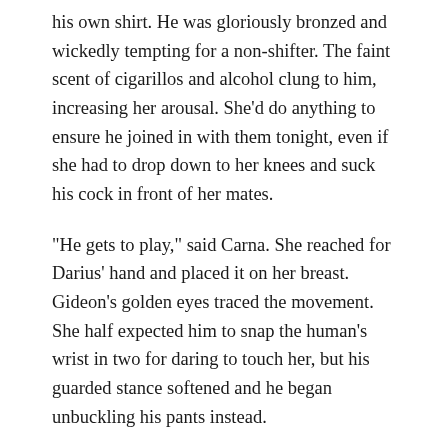his own shirt. He was gloriously bronzed and wickedly tempting for a non-shifter. The faint scent of cigarillos and alcohol clung to him, increasing her arousal. She'd do anything to ensure he joined in with them tonight, even if she had to drop down to her knees and suck his cock in front of her mates.
"He gets to play," said Carna. She reached for Darius' hand and placed it on her breast. Gideon's golden eyes traced the movement. She half expected him to snap the human's wrist in two for daring to touch her, but his guarded stance softened and he began unbuckling his pants instead.
Once shirtless with his zipper down, Gideon ordered her to her knees. She knew his alpha lion would demand to dominate with a new male in the room, and she reveled in every minute of it. The floor was cool on her knees,